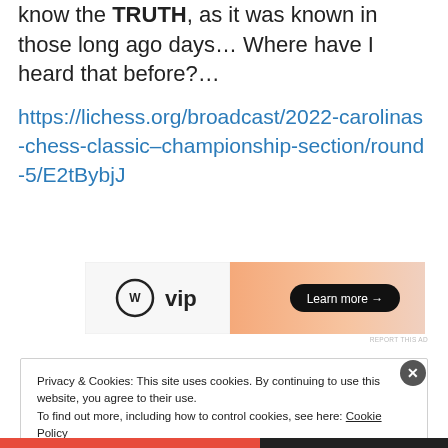know the TRUTH, as it was known in those long ago days… Where have I heard that before?…
https://lichess.org/broadcast/2022-carolinas-chess-classic–championship-section/round-5/E2tBybjJ
[Figure (other): WordPress VIP advertisement banner with 'Learn more' button]
Privacy & Cookies: This site uses cookies. By continuing to use this website, you agree to their use.
To find out more, including how to control cookies, see here: Cookie Policy
Close and accept